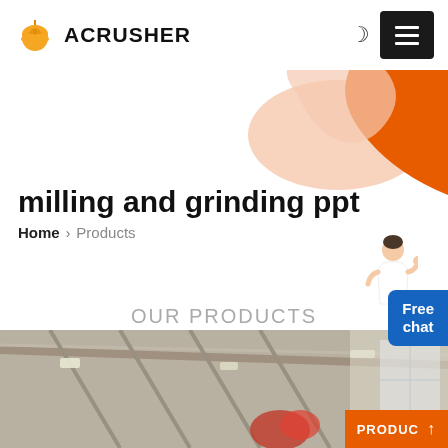ACRUSHER
milling and grinding ppt
Home > Products
OUR PRODUCTS
[Figure (photo): Industrial factory interior showing overhead machinery and ceiling structure with an orange product tag label reading PRODUC and an up arrow]
Free chat